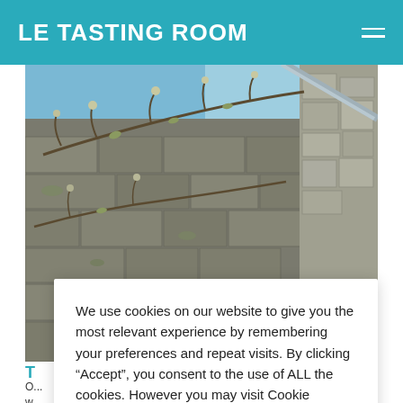LE TASTING ROOM
[Figure (photo): Looking up view of old stone wall with bare vine branches and small buds against a blue sky, photographed from a low angle.]
We use cookies on our website to give you the most relevant experience by remembering your preferences and repeat visits. By clicking “Accept”, you consent to the use of ALL the cookies. However you may visit Cookie Settings to provide a controlled consent.
Cookie settings    ACCEPT